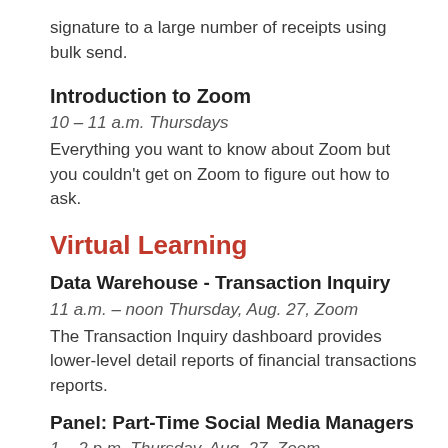signature to a large number of receipts using bulk send.
Introduction to Zoom
10 – 11 a.m. Thursdays
Everything you want to know about Zoom but you couldn't get on Zoom to figure out how to ask.
Virtual Learning
Data Warehouse - Transaction Inquiry
11 a.m. – noon Thursday, Aug. 27, Zoom
The Transaction Inquiry dashboard provides lower-level detail reports of financial transactions reports.
Panel: Part-Time Social Media Managers
1 – 2 p.m. Thursday, Aug. 27, Zoom
Many of us juggle multiple responsibilities and social media is one daily task out of many. How can part-